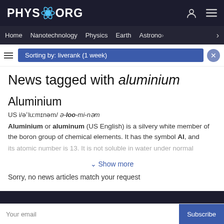PHYS.ORG
Home  Nanotechnology  Physics  Earth  Astronomy  >
Sorting by: liverank (1 week)
News tagged with aluminium
Aluminium
US i/ə'luːmɪnəm/ ə-loo-mi-nəm
Aluminium or aluminum (US English) is a silvery white member of the boron group of chemical elements. It has the symbol Al, and its atomic number is 13. It is not soluble in water under normal
Show more
Sorry, no news articles match your request
Your email  Subscribe